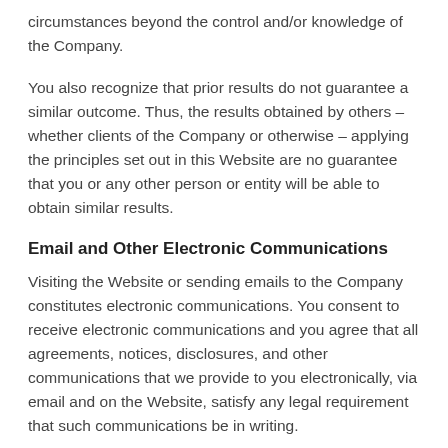circumstances beyond the control and/or knowledge of the Company.
You also recognize that prior results do not guarantee a similar outcome. Thus, the results obtained by others – whether clients of the Company or otherwise – applying the principles set out in this Website are no guarantee that you or any other person or entity will be able to obtain similar results.
Email and Other Electronic Communications
Visiting the Website or sending emails to the Company constitutes electronic communications. You consent to receive electronic communications and you agree that all agreements, notices, disclosures, and other communications that we provide to you electronically, via email and on the Website, satisfy any legal requirement that such communications be in writing.
We would be pleased to answer any questions about the...